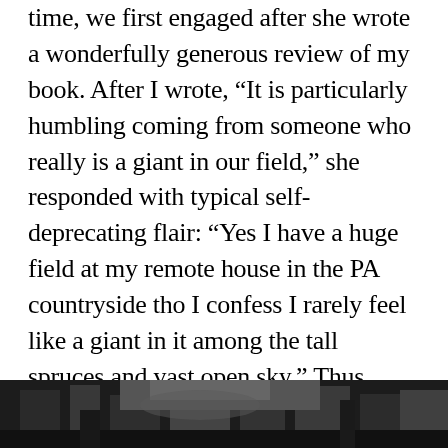time, we first engaged after she wrote a wonderfully generous review of my book. After I wrote, “It is particularly humbling coming from someone who really is a giant in our field,” she responded with typical self-deprecating flair: “Yes I have a huge field at my remote house in the PA countryside tho I confess I rarely feel like a giant in it among the tall spruces and vast open sky.” Thus began years of drinks, conference misbehavior, and late-night texting and emailing like giddy teenagers. “We were separated at birth, I am almost certain.”
[Figure (photo): Black and white photograph strip at the bottom of the page, partially visible, appearing to show an outdoor or historical scene.]